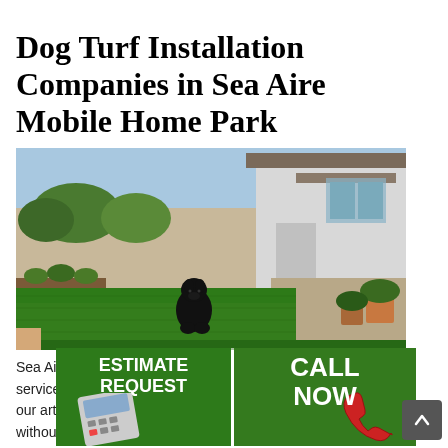Dog Turf Installation Companies in Sea Aire Mobile Home Park
[Figure (photo): A black dog sitting on a large green artificial turf lawn in a fenced backyard, with a white house and patio visible in the background along with potted plants and shrubs.]
[Figure (infographic): Two overlapping call-to-action button overlays: an 'ESTIMATE REQUEST' button with a calculator image on a green background, and a 'CALL NOW' button with a red telephone image on a green background.]
Sea Air... install services... of our artificial... ng, but without... nd that